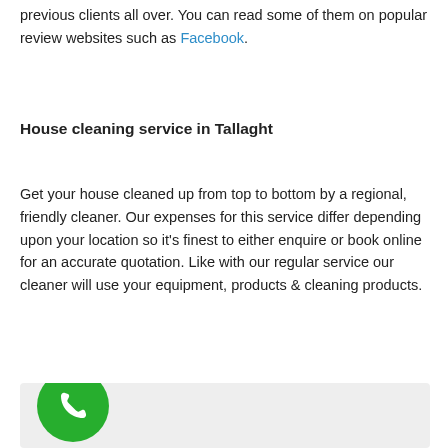previous clients all over. You can read some of them on popular review websites such as Facebook.
House cleaning service in Tallaght
Get your house cleaned up from top to bottom by a regional, friendly cleaner. Our expenses for this service differ depending upon your location so it's finest to either enquire or book online for an accurate quotation. Like with our regular service our cleaner will use your equipment, products & cleaning products.
[Figure (other): Grey box with green phone call button icon in bottom left corner]